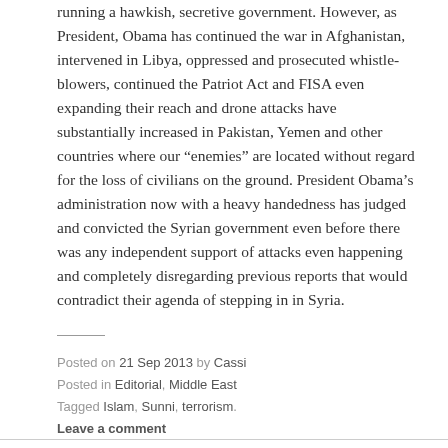running a hawkish, secretive government. However, as President, Obama has continued the war in Afghanistan, intervened in Libya, oppressed and prosecuted whistle-blowers, continued the Patriot Act and FISA even expanding their reach and drone attacks have substantially increased in Pakistan, Yemen and other countries where our “enemies” are located without regard for the loss of civilians on the ground. President Obama’s administration now with a heavy handedness has judged and convicted the Syrian government even before there was any independent support of attacks even happening and completely disregarding previous reports that would contradict their agenda of stepping in in Syria.
Posted on 21 Sep 2013 by Cassi
Posted in Editorial, Middle East
Tagged Islam, Sunni, terrorism.
Leave a comment